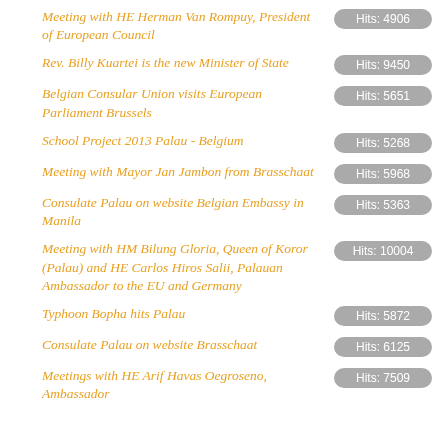Meeting with HE Herman Van Rompuy, President of European Council
Rev. Billy Kuartei is the new Minister of State
Belgian Consular Union visits European Parliament Brussels
School Project 2013 Palau - Belgium
Meeting with Mayor Jan Jambon from Brasschaat
Consulate Palau on website Belgian Embassy in Manila
Meeting with HM Bilung Gloria, Queen of Koror (Palau) and HE Carlos Hiros Salii, Palauan Ambassador to the EU and Germany
Typhoon Bopha hits Palau
Consulate Palau on website Brasschaat
Meetings with HE Arif Havas Oegroseno, Ambassador